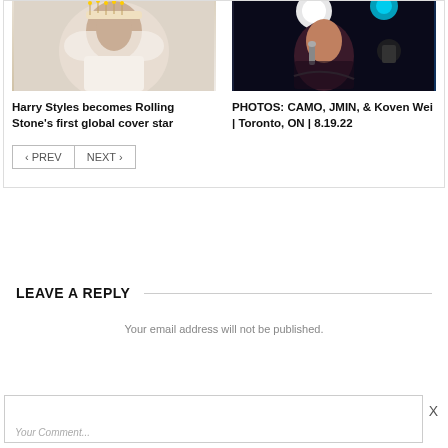[Figure (photo): Harry Styles holding a birthday cake, wearing a white feathery outfit]
[Figure (photo): Singer performing on stage with microphone, dark background with concert lights]
Harry Styles becomes Rolling Stone's first global cover star
PHOTOS: CAMO, JMIN, & Koven Wei | Toronto, ON | 8.19.22
< PREV   NEXT >
LEAVE A REPLY
Your email address will not be published.
Your Comment...